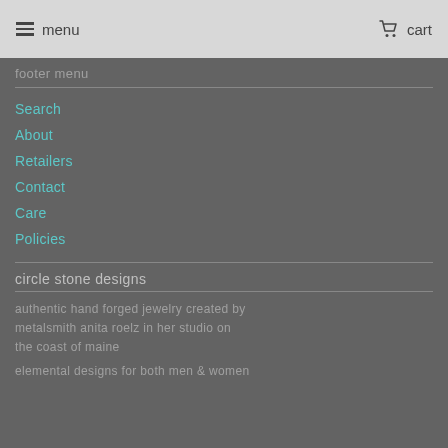menu   cart
footer menu
Search
About
Retailers
Contact
Care
Policies
circle stone designs
authentic hand forged jewelry created by metalsmith anita roelz in her studio on the coast of maine
elemental designs for both men & women